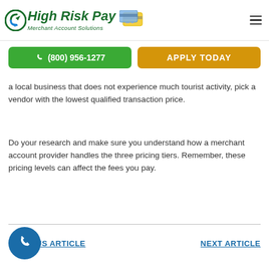High Risk Pay — Merchant Account Solutions
(800) 956-1277 | APPLY TODAY
a local business that does not experience much tourist activity, pick a vendor with the lowest qualified transaction price.
Do your research and make sure you understand how a merchant account provider handles the three pricing tiers. Remember, these pricing levels can affect the fees you pay.
PREVIOUS ARTICLE | NEXT ARTICLE